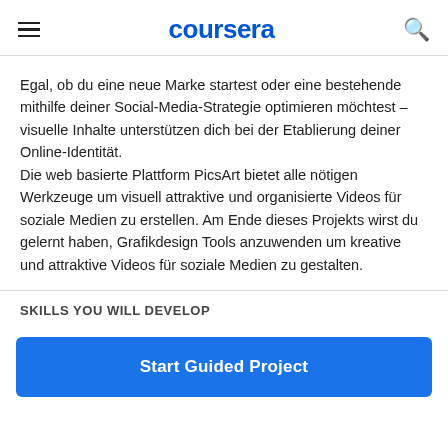coursera
Egal, ob du eine neue Marke startest oder eine bestehende mithilfe deiner Social-Media-Strategie optimieren möchtest – visuelle Inhalte unterstützen dich bei der Etablierung deiner Online-Identität. Die web basierte Plattform PicsArt bietet alle nötigen Werkzeuge um visuell attraktive und organisierte Videos für soziale Medien zu erstellen. Am Ende dieses Projekts wirst du gelernt haben, Grafikdesign Tools anzuwenden um kreative und attraktive Videos für soziale Medien zu gestalten.
SKILLS YOU WILL DEVELOP
Start Guided Project